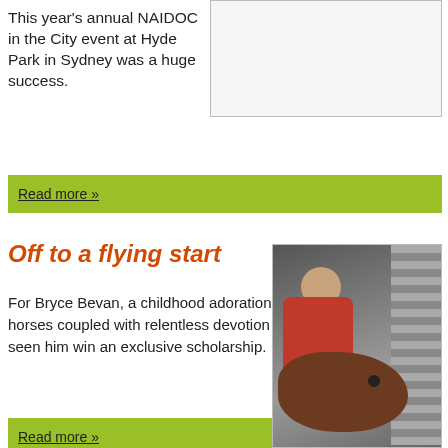This year's annual NAIDOC in the City event at Hyde Park in Sydney was a huge success.
[Figure (photo): Photo placeholder box (white/light grey rectangle) for NAIDOC in the City event]
Read more »
Off to a flying start
For Bryce Bevan, a childhood adoration of horses coupled with relentless devotion has seen him win an exclusive scholarship.
Read more »
[Figure (photo): Photo of Bryce Bevan with a horse, person in red jacket leaning close to brown horse's head, taken in what appears to be a stable or trailer]